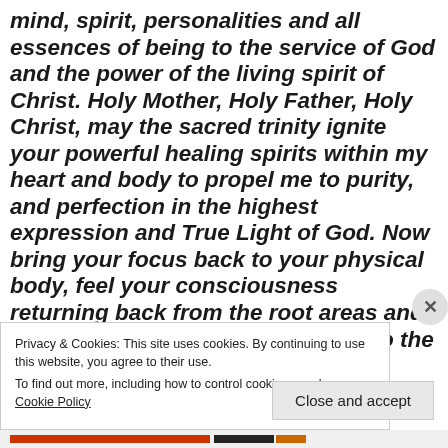mind, spirit, personalities and all essences of being to the service of God and the power of the living spirit of Christ. Holy Mother, Holy Father, Holy Christ, may the sacred trinity ignite your powerful healing spirits within my heart and body to propel me to purity, and perfection in the highest expression and True Light of God. Now bring your focus back to your physical body, feel your consciousness returning back from the root areas and moving upward to expand back into the full witness presence of your heart complex, and feeling your heart compass, allow the
Privacy & Cookies: This site uses cookies. By continuing to use this website, you agree to their use.
To find out more, including how to control cookies, see here: Cookie Policy
Close and accept